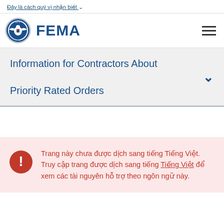Đây là cách quý vị nhận biết
[Figure (logo): FEMA logo with Department of Homeland Security seal and FEMA text]
Information for Contractors About Priority Rated Orders
Trang này chưa được dịch sang tiếng Tiếng Việt. Truy cập trang được dịch sang tiếng Tiếng Việt để xem các tài nguyên hỗ trợ theo ngôn ngữ này.